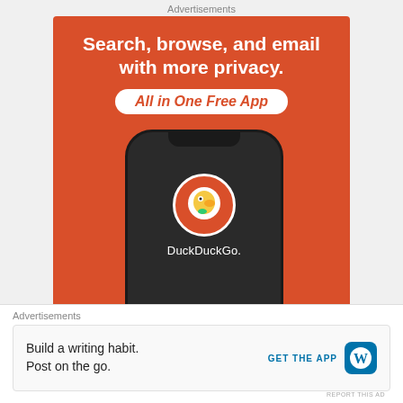Advertisements
[Figure (screenshot): DuckDuckGo advertisement banner on an orange background. Text reads: 'Search, browse, and email with more privacy. All in One Free App'. Shows a phone with the DuckDuckGo duck logo and 'DuckDuckGo.' text.]
REPORT THIS AD
Follow Us
[Figure (illustration): Two social media icons (Facebook and Twitter/X) partially visible]
Advertisements
[Figure (screenshot): WordPress advertisement. Text: 'Build a writing habit. Post on the go.' with a 'GET THE APP' call to action and WordPress logo icon.]
REPORT THIS AD